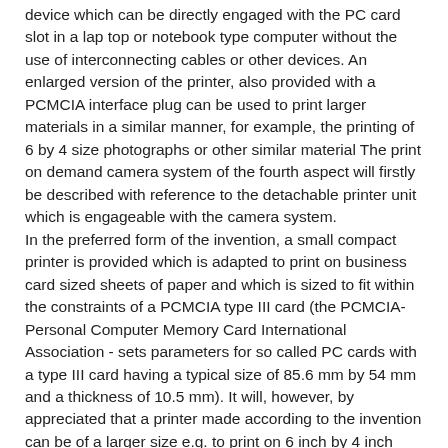device which can be directly engaged with the PC card slot in a lap top or notebook type computer without the use of interconnecting cables or other devices. An enlarged version of the printer, also provided with a PCMCIA interface plug can be used to print larger materials in a similar manner, for example, the printing of 6 by 4 size photographs or other similar material The print on demand camera system of the fourth aspect will firstly be described with reference to the detachable printer unit which is engageable with the camera system. In the preferred form of the invention, a small compact printer is provided which is adapted to print on business card sized sheets of paper and which is sized to fit within the constraints of a PCMCIA type III card (the PCMCIA- Personal Computer Memory Card International Association - sets parameters for so called PC cards with a type III card having a typical size of 85.6 mm by 54 mm and a thickness of 10.5 mm). It will, however, by appreciated that a printer made according to the invention can be of a larger size e.g. to print on 6 inch by 4 inch photo sized paper while still incorporating